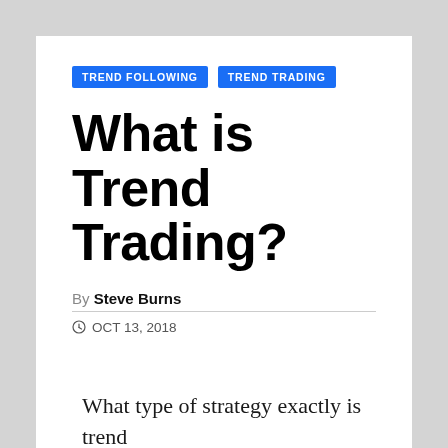TREND FOLLOWING | TREND TRADING
What is Trend Trading?
By Steve Burns
OCT 13, 2018
What type of strategy exactly is trend trading...